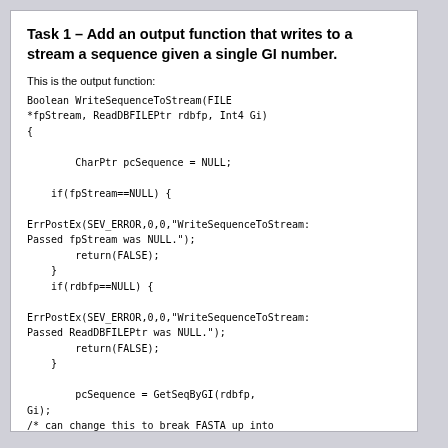Task 1 – Add an output function that writes to a stream a sequence given a single GI number.
This is the output function: